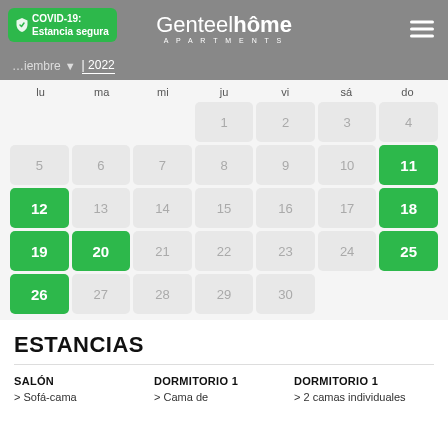COVID-19: Estancia segura | Genteelhôme APARTMENTS | noviembre 2022
[Figure (other): Monthly calendar for November 2022 showing available (green) and unavailable (grey) dates. Green dates: 11, 12, 18, 19, 20, 25, 26.]
ESTANCIAS
SALÓN
> Sofá-cama
DORMITORIO 1
> Cama de
DORMITORIO 1
> 2 camas individuales